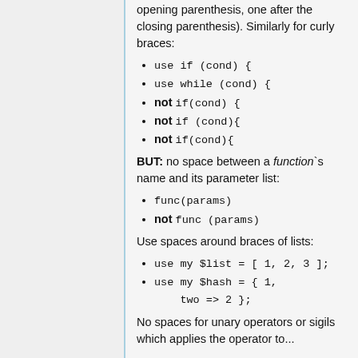opening parenthesis, one after the closing parenthesis). Similarly for curly braces:
use if (cond) {
use while (cond) {
not if(cond) {
not if (cond){
not if(cond){
BUT: no space between a function`s name and its parameter list:
func(params)
not func (params)
Use spaces around braces of lists:
use my $list = [ 1, 2, 3 ];
use my $hash = { one => 1, two => 2 };
No spaces for unary operators or sigils which applies the operator to...